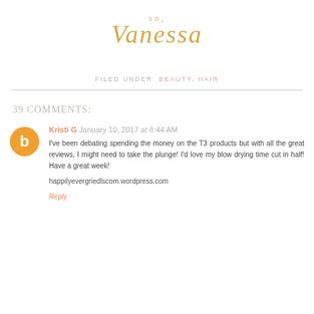[Figure (illustration): Decorative cursive signature 'xo, Vanessa' in gold/tan color on white background]
FILED UNDER: BEAUTY, HAIR
39 COMMENTS:
Kristi G January 10, 2017 at 8:44 AM
I've been debating spending the money on the T3 products but with all the great reviews, I might need to take the plunge! I'd love my blow drying time cut in half! Have a great week!
happilyevergriedlscom.wordpress.com
Reply